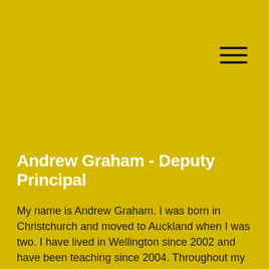[Figure (other): Hamburger menu icon — three horizontal dark lines in top-right area]
Andrew Graham - Deputy Principal
My name is Andrew Graham. I was born in Christchurch and moved to Auckland when I was two. I have lived in Wellington since 2002 and have been teaching since 2004. Throughout my teaching career I have taught students in Years 5-8. I have been a Team Leader at Rangikūhei School